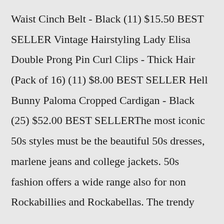Waist Cinch Belt - Black (11) $15.50 BEST SELLER Vintage Hairstyling Lady Elisa Double Prong Pin Curl Clips - Thick Hair (Pack of 16) (11) $8.00 BEST SELLER Hell Bunny Paloma Cropped Cardigan - Black (25) $52.00 BEST SELLERThe most iconic 50s styles must be the beautiful 50s dresses, marlene jeans and college jackets. 50s fashion offers a wide range also for non Rockabillies and Rockabellas. The trendy